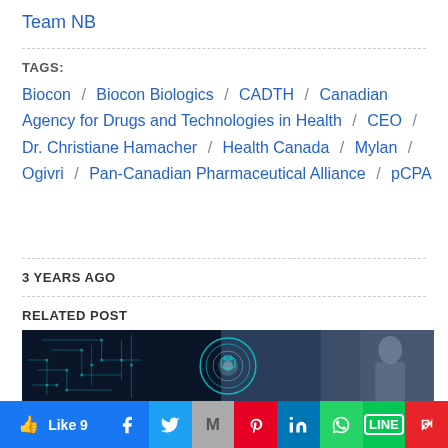Team NB
TAGS:
Biocon / Biocon Biologics / CADTH / Canadian Agency for Drugs and Technologies in Health / CEO / Dr. Christiane Hamacher / Health Canada / Mylan / Ogivri / Pan-Canadian Pharmaceutical Alliance / pCPA
3 YEARS AGO
RELATED POST
[Figure (photo): Dark background with teal circuit board pattern on left and glowing circular digital interface in center with a robot/AI figure, person in suit on right]